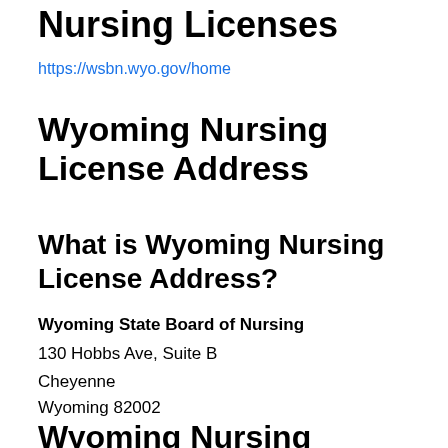Nursing Licenses
https://wsbn.wyo.gov/home
Wyoming Nursing License Address
What is Wyoming Nursing License Address?
Wyoming State Board of Nursing
130 Hobbs Ave, Suite B
Cheyenne
Wyoming 82002
Wyoming Nursing License